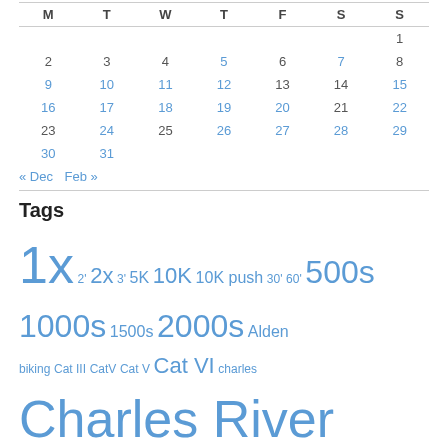| M | T | W | T | F | S | S |
| --- | --- | --- | --- | --- | --- | --- |
|  |  |  |  |  |  | 1 |
| 2 | 3 | 4 | 5 | 6 | 7 | 8 |
| 9 | 10 | 11 | 12 | 13 | 14 | 15 |
| 16 | 17 | 18 | 19 | 20 | 21 | 22 |
| 23 | 24 | 25 | 26 | 27 | 28 | 29 |
| 30 | 31 |  |  |  |  |  |
« Dec   Feb »
Tags
1x 2' 2x 3' 5K 10K 10K push 30' 60' 500s 1000s 1500s 2000s Alden biking Cat III CatV Cat V Cat VI charles Charles River coastal concept2 Cross Training CTC drills dynamic elliptical endurance erg errata fitness